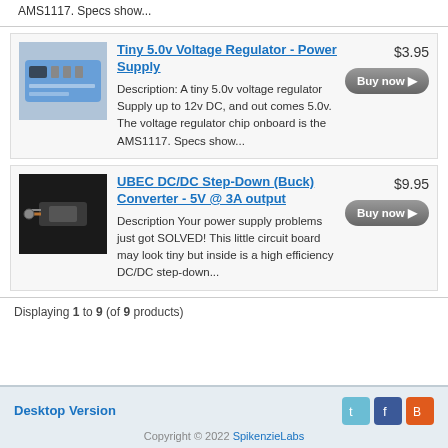AMS1117. Specs show...
[Figure (photo): Tiny 5.0v voltage regulator circuit board, blue PCB with components]
Tiny 5.0v Voltage Regulator - Power Supply
$3.95
Buy now
Description: A tiny 5.0v voltage regulator Supply up to 12v DC, and out comes 5.0v. The voltage regulator chip onboard is the AMS1117. Specs show...
[Figure (photo): UBEC DC/DC Step-Down Buck Converter device with wires]
UBEC DC/DC Step-Down (Buck) Converter - 5V @ 3A output
$9.95
Buy now
Description Your power supply problems just got SOLVED! This little circuit board may look tiny but inside is a high efficiency DC/DC step-down...
Displaying 1 to 9 (of 9 products)
Desktop Version | Copyright © 2022 SpikenzieLabs